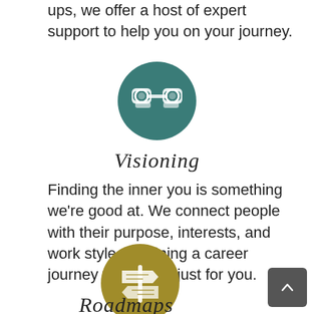ups, we offer a host of expert support to help you on your journey.
[Figure (illustration): Teal circle icon with white binoculars symbol]
Visioning
Finding the inner you is something we're good at. We connect people with their purpose, interests, and work style – defining a career journey that works just for you.
[Figure (illustration): Gold/olive circle icon with white signpost/roadmap symbol]
Roadmaps